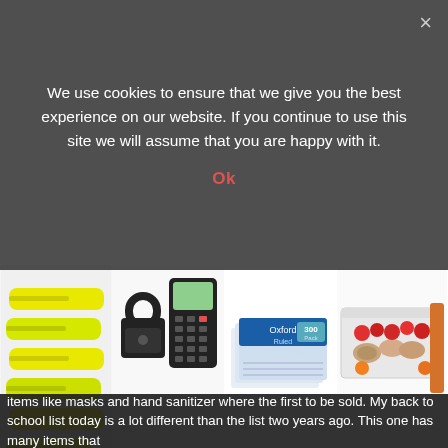We use cookies to ensure that we give you the best experience on our website. If you continue to use this site we will assume that you are happy with it.
Ok
[Figure (photo): Strip of four school supply product photos: yellow highlighters, combination padlock and graphing calculator, Oxford index cards (300 count), and a lunchbox with food items.]
Getting ready for back to school can be a hectic time for both parents and students. Everyone is running around with their school supply lists. Kid are thinking about their first day of school. To help make the process a little easier, we've compiled a back to school supplies list that is typically required by most schools. Back to School Supplies List Now Versus Two Years Ago Things were a lot different two years ago. The
items like masks and hand sanitizer where the first to be sold. My back to school list today is a lot different than the list two years ago. This one has many items that